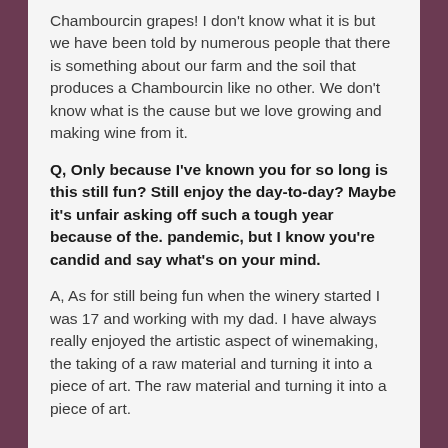Chambourcin grapes! I don't know what it is but we have been told by numerous people that there is something about our farm and the soil that produces a Chambourcin like no other. We don't know what is the cause but we love growing and making wine from it.
Q, Only because I've known you for so long is this still fun? Still enjoy the day-to-day? Maybe it's unfair asking off such a tough year because of the. pandemic, but I know you're candid and say what's on your mind.
A, As for still being fun when the winery started I was 17 and working with my dad. I have always really enjoyed the artistic aspect of winemaking, the taking of a raw material and turning it into a piece of art. The raw...